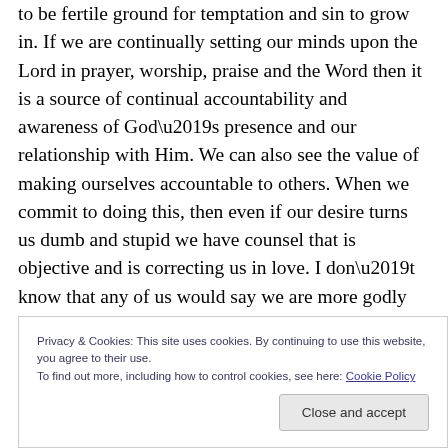to be fertile ground for temptation and sin to grow in. If we are continually setting our minds upon the Lord in prayer, worship, praise and the Word then it is a source of continual accountability and awareness of God’s presence and our relationship with Him. We can also see the value of making ourselves accountable to others. When we commit to doing this, then even if our desire turns us dumb and stupid we have counsel that is objective and is correcting us in love. I don’t know that any of us would say we are more godly than David is, but he is an example
Privacy & Cookies: This site uses cookies. By continuing to use this website, you agree to their use.
To find out more, including how to control cookies, see here: Cookie Policy
Close and accept